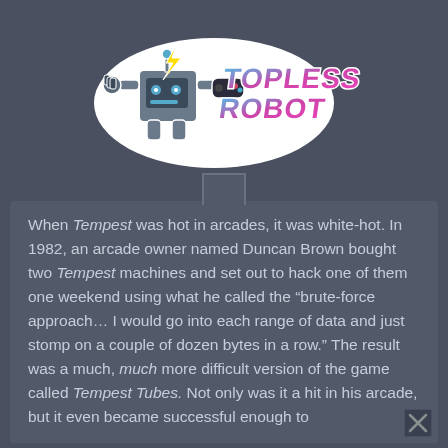[Figure (logo): Topless Robot logo — cartoon robot character with lightning bolt, holding a game controller, next to stylized retro text reading TOPLESS ROBOT in pink/cyan gradient with white outline sticker style]
When Tempest was hot in arcades, it was white-hot. In 1982, an arcade owner named Duncan Brown bought two Tempest machines and set out to hack one of them one weekend using what he called the “brute-force approach… I would go into each range of data and just stomp on a couple of dozen bytes in a row.” The result was a much, much more difficult version of the game called Tempest Tubes. Not only was it a hit in his arcade, but it even became successful enough to